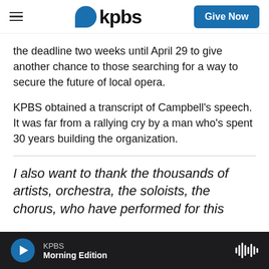kpbs | Give Now
the deadline two weeks until April 29 to give another chance to those searching for a way to secure the future of local opera.
KPBS obtained a transcript of Campbell’s speech. It was far from a rallying cry by a man who’s spent 30 years building the organization.
I also want to thank the thousands of artists, orchestra, the soloists, the chorus, who have performed for this
KPBS Morning Edition